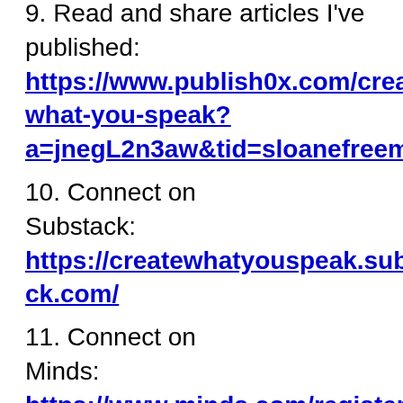9. Read and share articles I've published: https://www.publish0x.com/create-what-you-speak?a=jnegL2n3aw&tid=sloanefreemont.com
10. Connect on Substack: https://createwhatyouspeak.substack.com/
11. Connect on Minds: https://www.minds.com/register?referrer=sloanefreemont
12. Connect on Flote: https://flote.app/user/Sloanefreemont
13. Connect on Odysee: https://odysee.com/$/invite/@sloanefreemont:5
14. Connect on